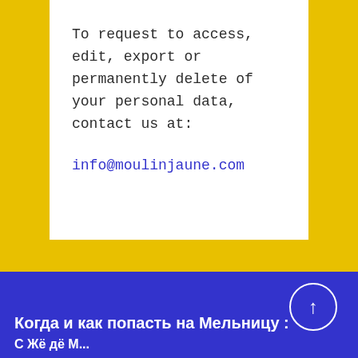To request to access, edit, export or permanently delete of your personal data, contact us at:
info@moulinjaune.com
Когда и как попасть на Мельницу :
↑